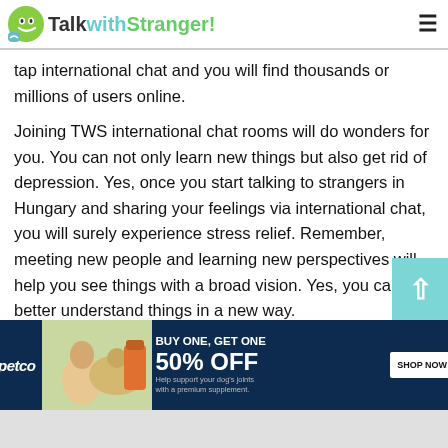TalkwithStranger!
tap international chat and you will find thousands or millions of users online.
Joining TWS international chat rooms will do wonders for you. You can not only learn new things but also get rid of depression. Yes, once you start talking to strangers in Hungary and sharing your feelings via international chat, you will surely experience stress relief. Remember, meeting new people and learning new perspectives will help you see things with a broad vision. Yes, you can better understand things in a new way.
[Figure (screenshot): Petco advertisement banner: BUY ONE, GET ONE 50% OFF. Help support your dog's joints with a premium supplement. SHOP NOW button.]